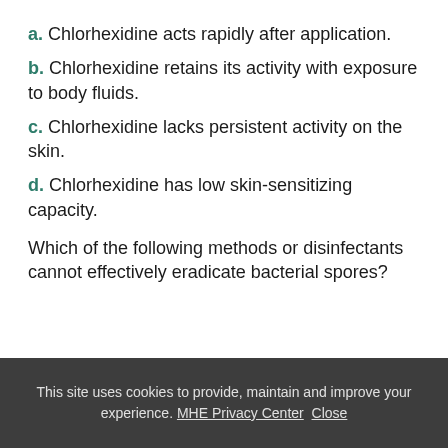a. Chlorhexidine acts rapidly after application.
b. Chlorhexidine retains its activity with exposure to body fluids.
c. Chlorhexidine lacks persistent activity on the skin.
d. Chlorhexidine has low skin-sensitizing capacity.
Which of the following methods or disinfectants cannot effectively eradicate bacterial spores?
This site uses cookies to provide, maintain and improve your experience. MHE Privacy Center  Close